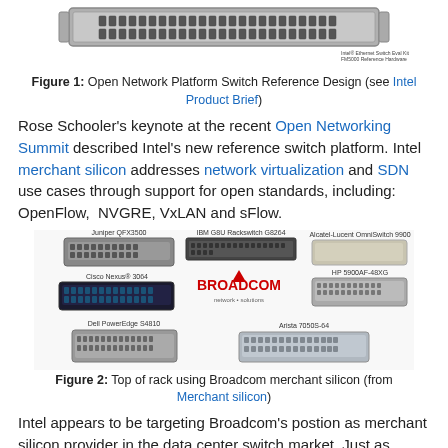[Figure (photo): Photo of Intel Ethernet Switch Eval Kit / FM5000 Reference Hardware - a 1U rack-mount network switch with many front ports]
Figure 1: Open Network Platform Switch Reference Design (see Intel Product Brief)
Rose Schooler's keynote at the recent Open Networking Summit described Intel's new reference switch platform. Intel merchant silicon addresses network virtualization and SDN use cases through support for open standards, including: OpenFlow, NVGRE, VxLAN and sFlow.
[Figure (photo): Photo collage of various Top-of-Rack switches using Broadcom merchant silicon: Juniper QFX3500, IBM G8 Rackswitch G8264, Alcatel-Lucent OmniSwitch 9900, Cisco Nexus 3064, Broadcom logo, HP 5900AF-48XG, Dell PowerEdge S4810, Arista 7050S-64]
Figure 2: Top of rack using Broadcom merchant silicon (from Merchant silicon)
Intel appears to be targeting Broadcom's postion as merchant silicon provider in the data center switch market. Just as competition between Intel, AMD and ARM has spurred innovation, increased choice, and driven down